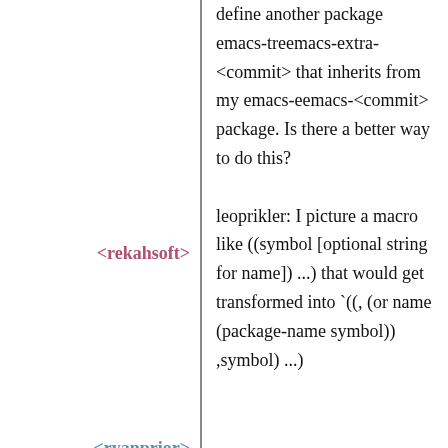define another package emacs-treemacs-extra-<commit> that inherits from my emacs-eemacs-<commit> package. Is there a better way to do this?
<rekahsoft>
<ryanprior>
leoprikler: I picture a macro like ((symbol [optional string for name]) ...) that would get transformed into `((, (or name (package-name symbol)) ,symbol) ...)